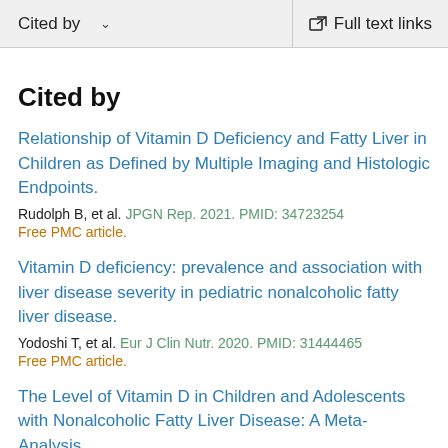Cited by   ∨   Full text links
Cited by
Relationship of Vitamin D Deficiency and Fatty Liver in Children as Defined by Multiple Imaging and Histologic Endpoints.
Rudolph B, et al. JPGN Rep. 2021. PMID: 34723254
Free PMC article.
Vitamin D deficiency: prevalence and association with liver disease severity in pediatric nonalcoholic fatty liver disease.
Yodoshi T, et al. Eur J Clin Nutr. 2020. PMID: 31444465
Free PMC article.
The Level of Vitamin D in Children and Adolescents with Nonalcoholic Fatty Liver Disease: A Meta-Analysis.